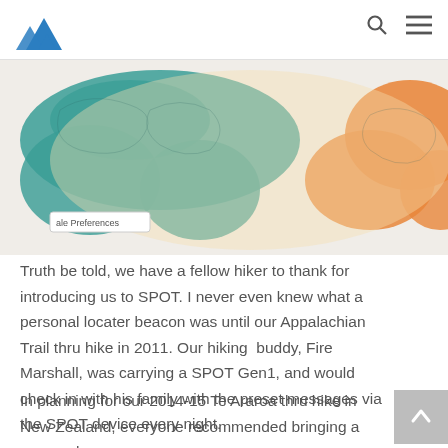[Figure (map): World map showing SPOT satellite coverage areas in teal/blue-green and orange colors, with a legend indicating 'Fringe S.O.S. and 2-way message coverage' and a button labeled 'ale Preferences']
Truth be told, we have a fellow hiker to thank for introducing us to SPOT. I never even knew what a personal locater beacon was until our Appalachian Trail thru hike in 2011. Our hiking buddy, Fire Marshall, was carrying a SPOT Gen1, and would check in with his family with the preset messages via the SPOT device every night.
In planning for our 2014-15 Te Araroa thru hike in New Zealand, everyone recommended bringing a personal locater beacon...